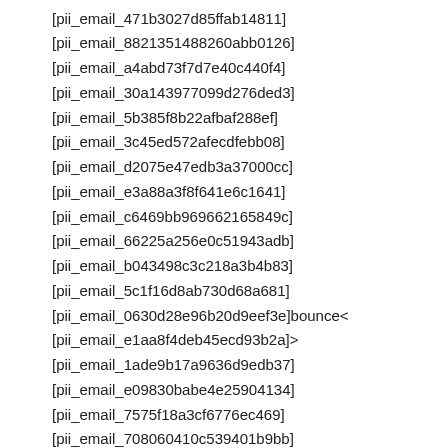[pii_email_471b3027d85ffab14811]
[pii_email_8821351488260abb0126]
[pii_email_a4abd73f7d7e40c440f4]
[pii_email_30a143977099d276ded3]
[pii_email_5b385f8b22afbaf288ef]
[pii_email_3c45ed572afecdfebb08]
[pii_email_d2075e47edb3a37000cc]
[pii_email_e3a88a3f8f641e6c1641]
[pii_email_c6469bb969662165849c]
[pii_email_66225a256e0c51943adb]
[pii_email_b043498c3c218a3b4b83]
[pii_email_5c1f16d8ab730d68a681]
[pii_email_0630d28e96b20d9eef3e]bounce<
[pii_email_e1aa8f4deb45ecd93b2a]>
[pii_email_1ade9b17a9636d9edb37]
[pii_email_e09830babe4e25904134]
[pii_email_7575f18a3cf6776ec469]
[pii_email_708060410c539401b9bb]
[pii_email_2a70a20b6b410893de61]